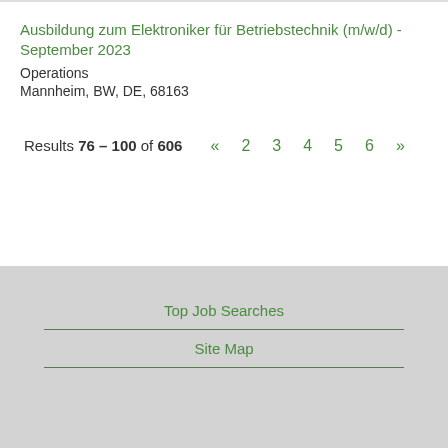Ausbildung zum Elektroniker für Betriebstechnik (m/w/d) - September 2023
Operations
Mannheim, BW, DE, 68163
Results 76 – 100 of 606  «  2  3  4  5  6  »
Top Job Searches
Site Map